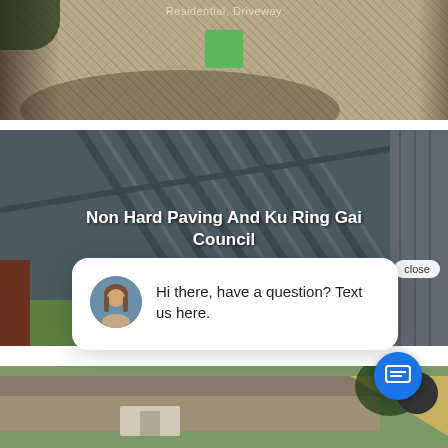[Figure (photo): Aerial/ground-level photo of a gravel residential driveway with text label 'Residential, Driveway' and a green square overlay in the center]
[Figure (photo): Aerial photo of a dark metal roof with bold white text overlay reading 'Non Hard Paving And Ku Ring Gai Council' and a 'close' button]
Hi there, have a question? Text us here.
[Figure (photo): Partial aerial view of a house roof with trees at bottom of page]